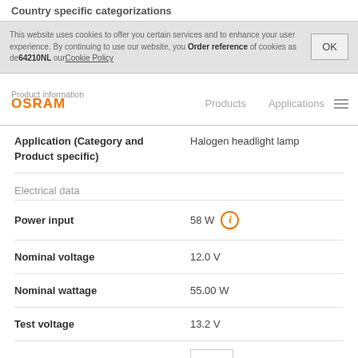Country specific categorizations
This website uses cookies to offer you certain services and to enhance your user experience. By continuing to use our website, you accept the use of cookies as described in our Cookie Policy
Order reference  64210NL
Product information   Products   Applications
| Property | Value |
| --- | --- |
| Application (Category and Product specific) | Halogen headlight lamp |
Electrical data
| Property | Value |
| --- | --- |
| Power input | 58 W |
| Nominal voltage | 12.0 V |
| Nominal wattage | 55.00 W |
| Test voltage | 13.2 V |
Photometrical data